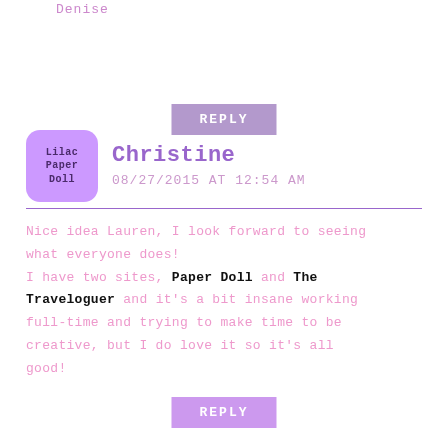Denise
REPLY
Christine
08/27/2015 AT 12:54 AM
Nice idea Lauren, I look forward to seeing what everyone does! I have two sites, Paper Doll and The Traveloguer and it's a bit insane working full-time and trying to make time to be creative, but I do love it so it's all good!
REPLY